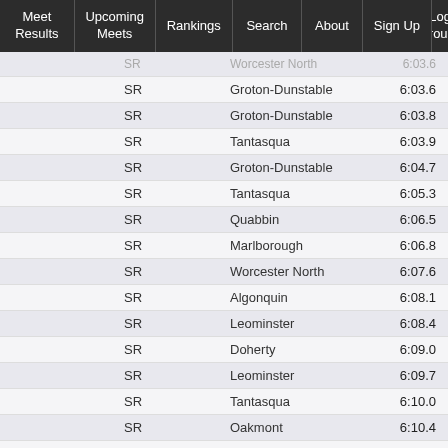Meet Results | Upcoming Meets | Rankings | Search | About | Sign Up | Log...
|  | Grade | School |  | Time |
| --- | --- | --- | --- | --- |
|  | SR | Worcester North |  | 6:03.6 |
|  | SR | Groton-Dunstable |  | 6:03.6 |
|  | SR | Groton-Dunstable |  | 6:03.8 |
|  | SR | Tantasqua |  | 6:03.9 |
|  | SR | Groton-Dunstable |  | 6:04.7 |
|  | SR | Tantasqua |  | 6:05.3 |
|  | SR | Quabbin |  | 6:06.5 |
|  | SR | Marlborough |  | 6:06.8 |
|  | SR | Worcester North |  | 6:07.6 |
|  | SR | Algonquin |  | 6:08.1 |
|  | SR | Leominster |  | 6:08.4 |
|  | SR | Doherty |  | 6:09.0 |
|  | SR | Leominster |  | 6:09.7 |
|  | SR | Tantasqua |  | 6:10.0 |
|  | SR | Oakmont |  | 6:10.4 |
|  | SR | North Middlesex |  | 6:10.5 |
|  | SR | Saint Peter-Marian |  | 6:11.7 |
|  | SR | Oakmont |  | 6:12.3 |
|  | SR | Marlborough |  | 6:12.4 |
|  | SR | Shepherd Hill |  | 6:13.7 |